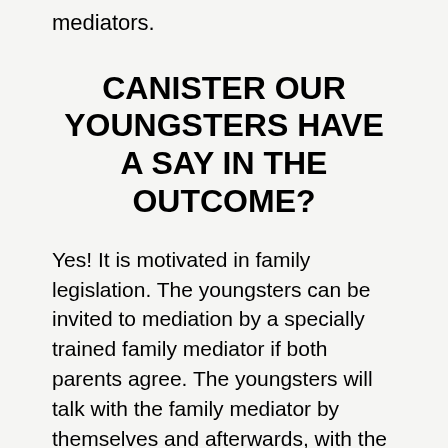mediators.
CANISTER OUR YOUNGSTERS HAVE A SAY IN THE OUTCOME?
Yes! It is motivated in family legislation. The youngsters can be invited to mediation by a specially trained family mediator if both parents agree. The youngsters will talk with the family mediator by themselves and afterwards, with the kids's permission, this can be fed back to the parents at a separate meeting.
If you litigated, as long as the youngsters are of a specific age and also the judge agrees, then